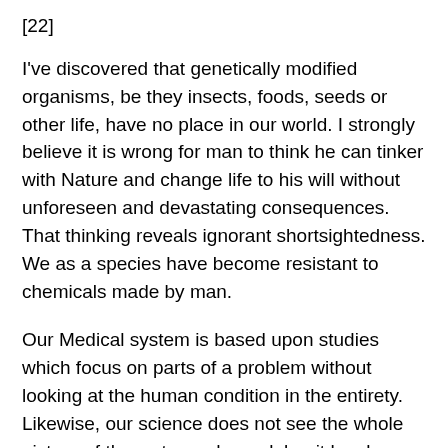[22]
I've discovered that genetically modified organisms, be they insects, foods, seeds or other life, have no place in our world. I strongly believe it is wrong for man to think he can tinker with Nature and change life to his will without unforeseen and devastating consequences. That thinking reveals ignorant shortsightedness. We as a species have become resistant to chemicals made by man.
Our Medical system is based upon studies which focus on parts of a problem without looking at the human condition in the entirety. Likewise, our science does not see the whole picture of the water and our globe  it has been broken into fragments to study by universities with funding. Inch by inch to miles by miles in the process, we lose pieces of the full spectrum of our universe which cannot